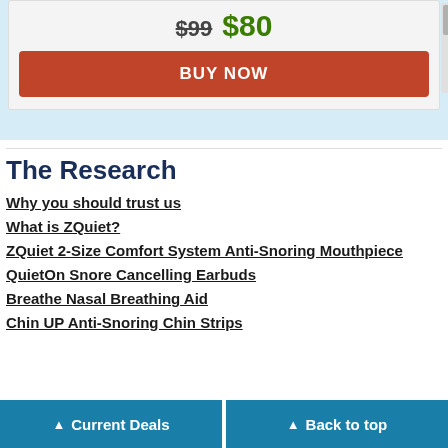$99  $80
BUY NOW
The Research
Why you should trust us
What is ZQuiet?
ZQuiet 2-Size Comfort System Anti-Snoring Mouthpiece
QuietOn Snore Cancelling Earbuds
Breathe Nasal Breathing Aid
Chin UP Anti-Snoring Chin Strips
Current Deals    Back to top